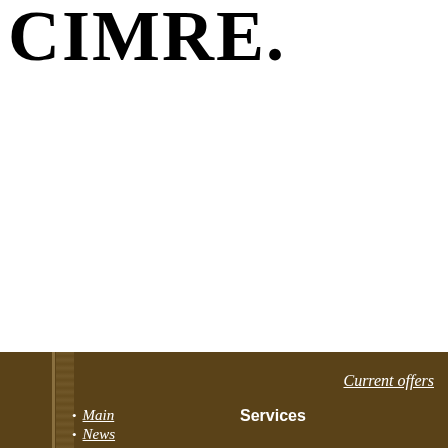CIMRE.
Current offers
Main
News
Services